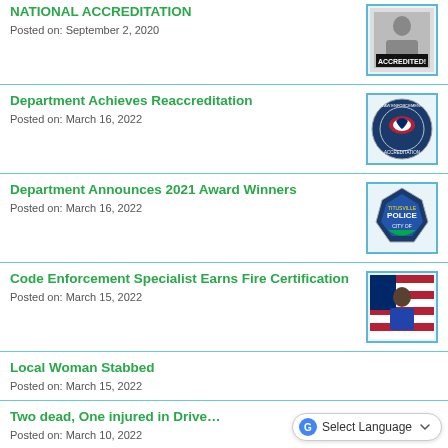NATIONAL ACCREDITATION
Posted on: September 2, 2020
Department Achieves Reaccreditation
Posted on: March 16, 2022
Department Announces 2021 Award Winners
Posted on: March 16, 2022
Code Enforcement Specialist Earns Fire Certification
Posted on: March 15, 2022
Local Woman Stabbed
Posted on: March 15, 2022
Two dead, One injured in Drive... 
Posted on: March 10, 2022